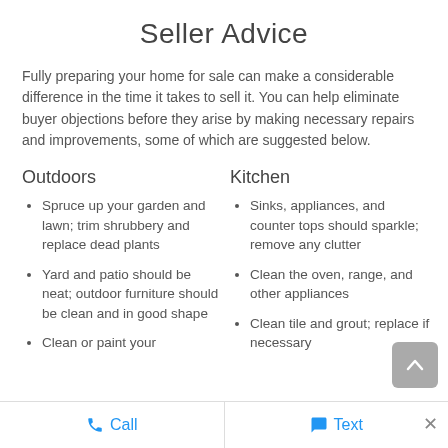Seller Advice
Fully preparing your home for sale can make a considerable difference in the time it takes to sell it. You can help eliminate buyer objections before they arise by making necessary repairs and improvements, some of which are suggested below.
Outdoors
Kitchen
Spruce up your garden and lawn; trim shrubbery and replace dead plants
Yard and patio should be neat; outdoor furniture should be clean and in good shape
Clean or paint your
Sinks, appliances, and counter tops should sparkle; remove any clutter
Clean the oven, range, and other appliances
Clean tile and grout; replace if necessary
Call   Text   ×